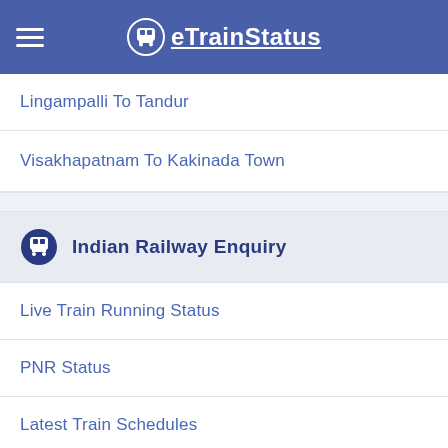eTrainStatus
Lingampalli To Tandur
Visakhapatnam To Kakinada Town
Indian Railway Enquiry
Live Train Running Status
PNR Status
Latest Train Schedules
Train Fare
Train Seat Map
Latest Indian Railway Map